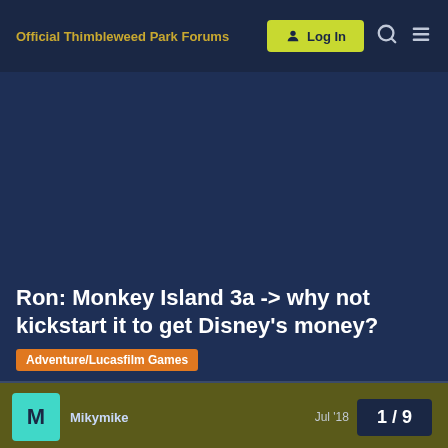Official Thimbleweed Park Forums
Ron: Monkey Island 3a -> why not kickstart it to get Disney's money?
Adventure/Lucasfilm Games
Mikymike  Jul '18
1 / 9
Hello Ron